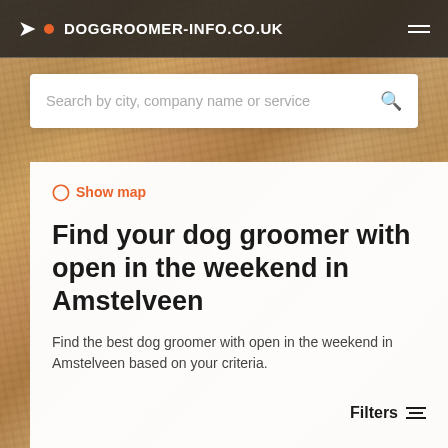DOGGROOMER-INFO.CO.UK
Search by city, company name or service
Show map
Find your dog groomer with open in the weekend in Amstelveen
Find the best dog groomer with open in the weekend in Amstelveen based on your criteria.
Filters